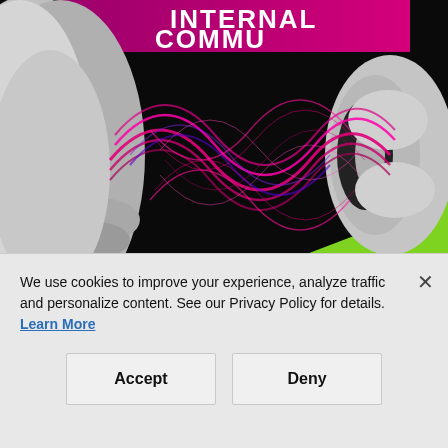[Figure (illustration): Cover image showing a silver/gray human face (lips/nose profile) on the left speaking toward a silver human ear on the right, with vibrant pink/magenta and blue sound-wave graphics between them on a black background, with a bright green diagonal shape at the bottom-right. Text at top reads 'INTERNAL COMMU...' (cropped) in white bold letters on a magenta/purple background.]
AUG 24 — 2022 State of Internal Communications: Trends, Challenges and more
We use cookies to improve your experience, analyze traffic and personalize content. See our Privacy Policy for details. Learn More